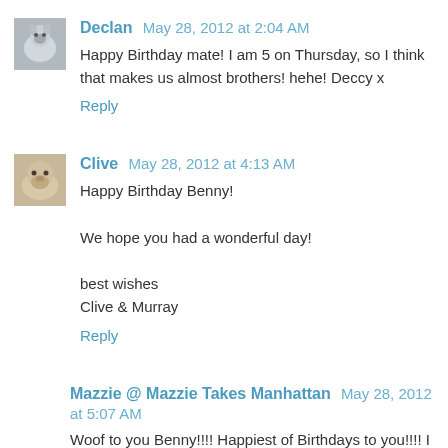Declan May 28, 2012 at 2:04 AM
Happy Birthday mate! I am 5 on Thursday, so I think that makes us almost brothers! hehe! Deccy x
Reply
Clive May 28, 2012 at 4:13 AM
Happy Birthday Benny!
We hope you had a wonderful day!
best wishes
Clive & Murray
Reply
Mazzie @ Mazzie Takes Manhattan May 28, 2012 at 5:07 AM
Woof to you Benny!!!! Happiest of Birthdays to you!!!! I